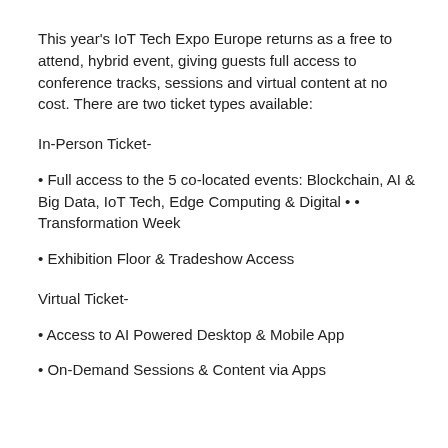This year's IoT Tech Expo Europe returns as a free to attend, hybrid event, giving guests full access to conference tracks, sessions and virtual content at no cost. There are two ticket types available:
In-Person Ticket-
• Full access to the 5 co-located events: Blockchain, AI & Big Data, IoT Tech, Edge Computing & Digital • • Transformation Week
• Exhibition Floor & Tradeshow Access
Virtual Ticket-
• Access to AI Powered Desktop & Mobile App
• On-Demand Sessions & Content via Apps